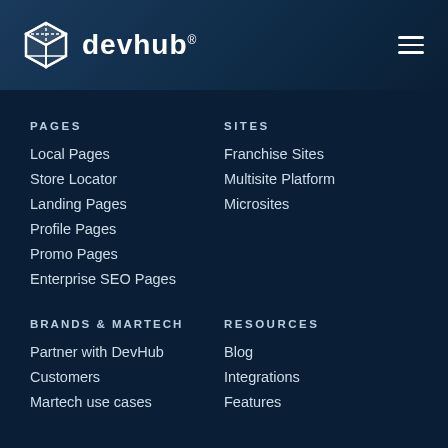[Figure (logo): DevHub logo with cube icon and brand name, registered trademark symbol]
PAGES
Local Pages
Store Locator
Landing Pages
Profile Pages
Promo Pages
Enterprise SEO Pages
SITES
Franchise Sites
Multisite Platform
Microsites
BRANDS & MARTECH
Partner with DevHub
Customers
Martech use cases
RESOURCES
Blog
Integrations
Features